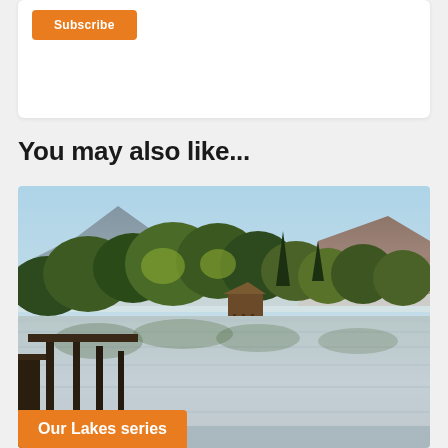[Figure (other): White card/box with an orange Subscribe button in the top-left corner]
You may also like...
[Figure (photo): Landscape photograph of a calm lake at dawn with wooden dock posts in the foreground, lush green trees and a boathouse in the middle ground, and misty mountains in the background]
Our Lakes series